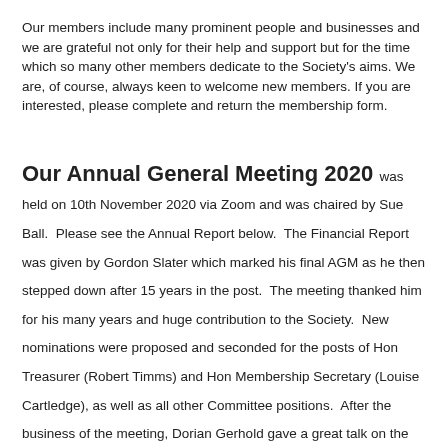Our members include many prominent people and businesses and we are grateful not only for their help and support but for the time which so many other members dedicate to the Society's aims. We are, of course, always keen to welcome new members. If you are interested, please complete and return the membership form.
Our Annual General Meeting 2020 was held on 10th November 2020 via Zoom and was chaired by Sue Ball. Please see the Annual Report below. The Financial Report was given by Gordon Slater which marked his final AGM as he then stepped down after 15 years in the post. The meeting thanked him for his many years and huge contribution to the Society. New nominations were proposed and seconded for the posts of Hon Treasurer (Robert Timms) and Hon Membership Secretary (Louise Cartledge), as well as all other Committee positions. After the business of the meeting, Dorian Gerhold gave a great talk on the History of Victoria Tower Gardens, a recording of which can be found on our Events page.
Please click below to view:
Annual Report 2019-2020